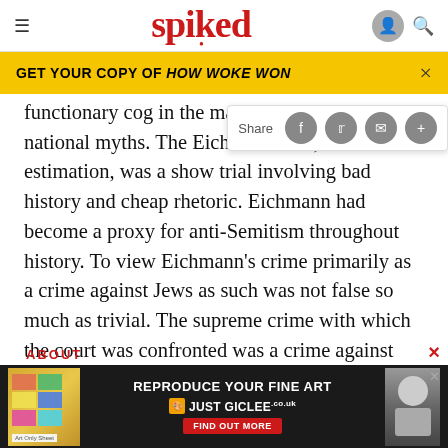spiked
GET YOUR COPY OF HOW WOKE WON
functionary cog in the machine threatened national myths. The Eichmann trial, in her estimation, was a show trial involving bad history and cheap rhetoric. Eichmann had become a proxy for anti-Semitism throughout history. To view Eichmann's crime primarily as a crime against Jews as such was not false so much as trivial. The supreme crime with which the court was confronted was a crime against humanity. After reading the 3,600-page transcript
ABOUT
[Figure (screenshot): Advertisement banner: REPRODUCE YOUR FINE ART JUST GICLEE.co.uk with FIND OUT MORE button]